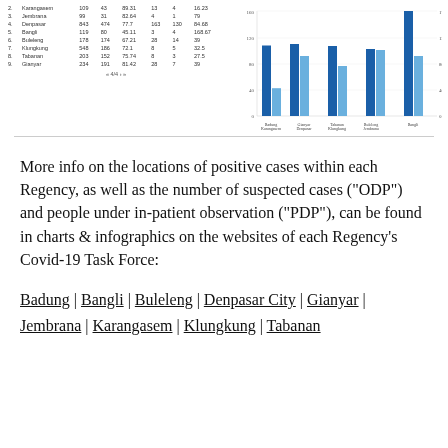| No | Regency | ODP | PDP | Positif % | Meninggal | Sembuh | Kumulatif |
| --- | --- | --- | --- | --- | --- | --- | --- |
| 2 | Karangasem | 109 | 43 | 89.31 | 13 | 4 | 16.23 |
| 3 | Jembrana | 99 | 31 | 82.64 | 4 | 1 | 79 |
| 4 | Denpasar | 843 | 474 | 77.7 | 163 | 130 | 84.68 |
| 5 | Bangli | 119 | 80 | 45.11 | 3 | 4 | 168.67 |
| 6 | Buleleng | 178 | 174 | 67.21 | 28 | 14 | 39 |
| 7 | Klungkung | 548 | 186 | 72.1 | 8 | 5 | 32.5 |
| 8 | Tabanan | 203 | 152 | 75.74 | 8 | 3 | 27.5 |
| 9 | Gianyar | 234 | 191 | 81.42 | 28 | 7 | 39 |
[Figure (grouped-bar-chart): Covid-19 cases by Regency]
More info on the locations of positive cases within each Regency, as well as the number of suspected cases ("ODP") and people under in-patient observation ("PDP"), can be found in charts & infographics on the websites of each Regency's Covid-19 Task Force:
Badung | Bangli | Buleleng | Denpasar City | Gianyar | Jembrana | Karangasem | Klungkung | Tabanan